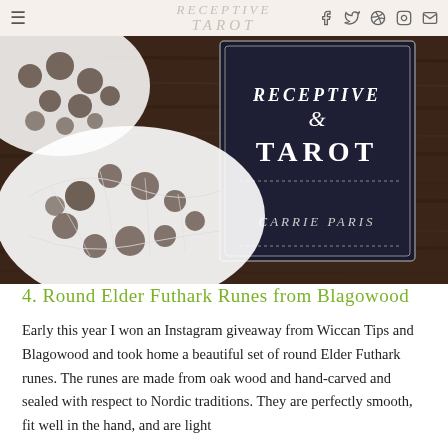Receptive Tarot — navigation bar with social icons
[Figure (photo): Close-up photo of a tarot card box reading 'Receptive Tarot - Carrie Paris' on a dark wood surface, with white lace doily beside it]
4. Round Elder Futhark Runes from Blagowood
Early this year I won an Instagram giveaway from Wiccan Tips and Blagowood and took home a beautiful set of round Elder Futhark runes. The runes are made from oak wood and hand-carved and sealed with respect to Nordic traditions. They are perfectly smooth, fit well in the hand, and are light